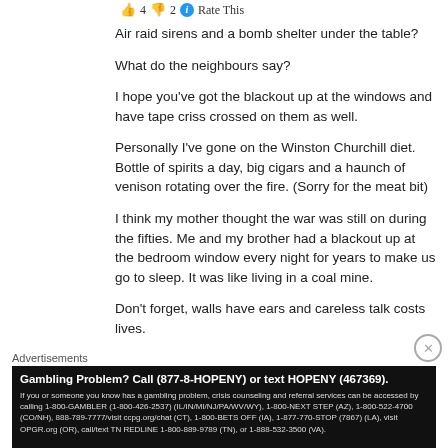👍 4 👎 2 ℹ Rate This
Air raid sirens and a bomb shelter under the table?
What do the neighbours say?
I hope you've got the blackout up at the windows and have tape criss crossed on them as well.
Personally I've gone on the Winston Churchill diet. Bottle of spirits a day, big cigars and a haunch of venison rotating over the fire. (Sorry for the meat bit)
I think my mother thought the war was still on during the fifties. Me and my brother had a blackout up at the bedroom window every night for years to make us go to sleep. It was like living in a coal mine.
Don't forget, walls have ears and careless talk costs lives.
Advertisements
[Figure (other): Advertisement banner: Gambling Problem? Call (877-8-HOPENY) or text HOPENY (467369). If you or someone you know has a gambling problem, crisis counseling and referral services can be accessed by calling 1-800-GAMBLER (1-800-426-2537) (IL/IN/MI/NJ/PA/WV/WY), 1-800-NEXT STEP (AZ), 1-800-522-4700 (CO/NH), 888-789-7777/visit ccpg.org/chat (CT), 1-800-BETS OFF (IA), 1-877-770-STOP (7867) (LA), visit OPGR.org (OR), call/text TN REDLINE 1-800-889-9789 (TN), or 1-888-532-3500 (VA).]